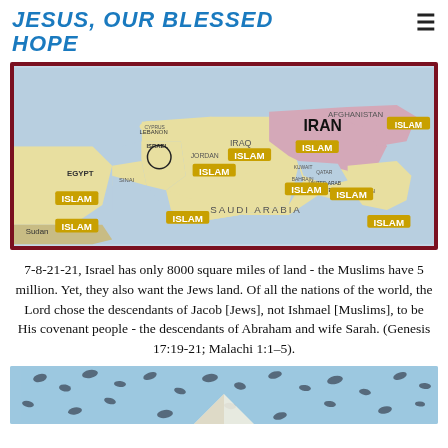JESUS, OUR BLESSED HOPE
[Figure (map): Map of the Middle East showing countries labeled with ISLAM overlays: Egypt, Jordan, Iraq, Iran, Afghanistan, Bahrain, Qatar, UAE, Oman, Sudan, and others. Countries include Saudi Arabia, Kuwait, Lebanon, Cyprus, Israel, Sinai. IRAN label prominent in center-right. Yellow ISLAM labels overlaid on multiple countries.]
7-8-21-21, Israel has only 8000 square miles of land - the Muslims have 5 million. Yet, they also want the Jews land. Of all the nations of the world, the Lord chose the descendants of Jacob [Jews], not Ishmael [Muslims], to be His covenant people - the descendants of Abraham and wife Sarah. (Genesis 17:19-21; Malachi 1:1–5).
[Figure (illustration): Partial bottom image showing a light blue background with dark bird-like shapes scattered across it and what appears to be a white pyramid or triangle shape at the bottom center.]